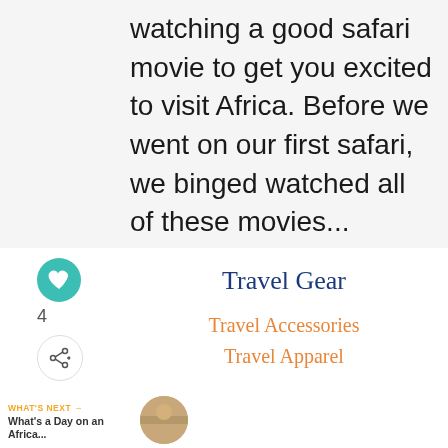watching a good safari movie to get you excited to visit Africa. Before we went on our first safari, we binged watched all of these movies...
[Figure (infographic): Heart/like button (teal circle with heart icon), like count '4', and share button (circle with share icon)]
Travel Gear
Travel Accessories
Travel Apparel
WHAT'S NEXT → What's a Day on an Africa...